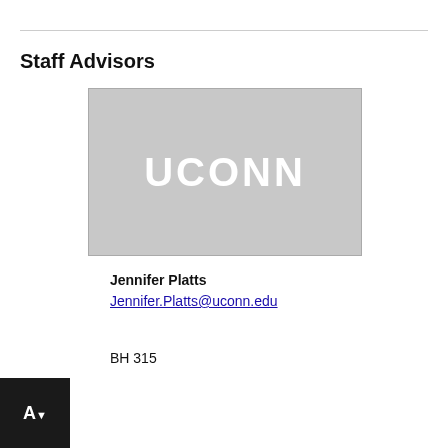Staff Advisors
[Figure (logo): Gray placeholder image with white UCONN text in the center]
Jennifer Platts
Jennifer.Platts@uconn.edu
BH 315
[Figure (logo): Black AV badge with white AV text and down arrow]